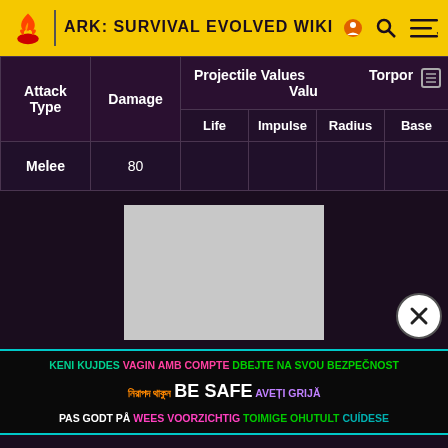ARK: SURVIVAL EVOLVED WIKI
| Attack Type | Damage | Projectile Values (Life, Impulse, Radius, Base) | Torpor Values |
| --- | --- | --- | --- |
| Melee | 80 |  |  |  |  |  |
[Figure (photo): Gray advertisement image placeholder]
KENI KUJDES VAGIN AMB COMPTE DBEJTE NA SVOU BEZPEČNOST নিরাপদ থাকুন BE SAFE AVEȚI GRIJĂ PAS GODT PÅ WEES VOORZICHTIG TOIMIGE OHUTULT CUÍDESE